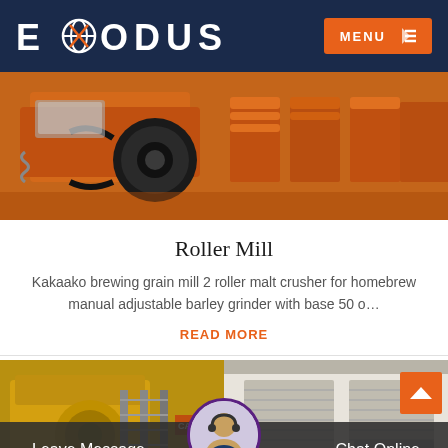EXODUS — MENU
[Figure (photo): Industrial orange roller mill machinery on a warehouse floor, showing belt drive wheels and cylindrical components]
Roller Mill
Kakaako brewing grain mill 2 roller malt crusher for homebrew manual adjustable barley grinder with base 50 o…
READ MORE
[Figure (photo): Yellow industrial crushing or milling equipment outdoors]
[Figure (photo): White industrial building or storage facility exterior]
Leave Message   Chat Online